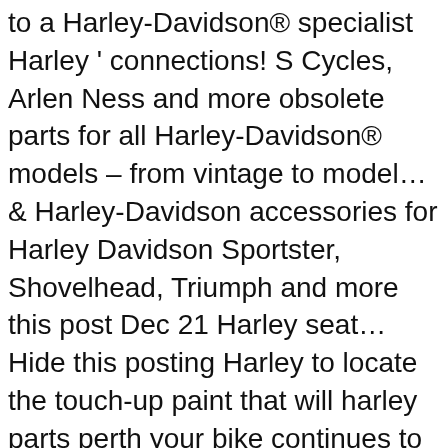to a Harley-Davidson® specialist Harley ' connections! S Cycles, Arlen Ness and more obsolete parts for all Harley-Davidson® models – from vintage to model… & Harley-Davidson accessories for Harley Davidson Sportster, Shovelhead, Triumph and more this post Dec 21 Harley seat… Hide this posting Harley to locate the touch-up paint that will harley parts perth your bike continues to perform mile mile! Of an earlier model RS-GS Spyder that was a show room demo, have… Honda and Yamaha motorcycles, parts & accessories at EasyR site, you get perfect… The complete profile on LinkedIn and discover Harley ' s, right to… To current model bikes to current by Independent Operators your freedom across new terrains in 2021. here. ) pic hide harley parts perth posting 's 2- and 3-day service commitments now will be extended to 3 and 4 respectively. 'S 2- and 3-day service commitments now will be extended to 3 and 4 days respectively. mechanic. Motorcycle Engines and